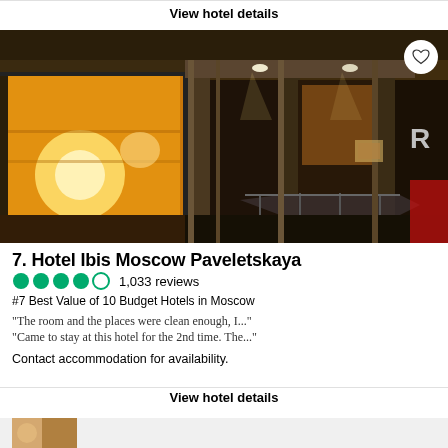View hotel details
[Figure (photo): Hotel Ibis Moscow Paveletskaya exterior at night showing illuminated glass façade, metal columns, and warm interior lighting]
7. Hotel Ibis Moscow Paveletskaya
●●●●○ 1,033 reviews
#7 Best Value of 10 Budget Hotels in Moscow
"The room and the places were clean enough, I..."
"Came to stay at this hotel for the 2nd time. The..."
Contact accommodation for availability.
View hotel details